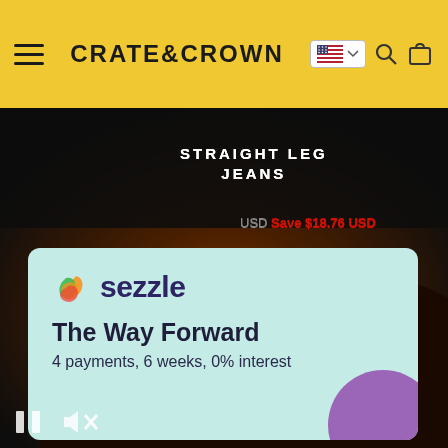CRATE&CROWN
STRAIGHT LEG JEANS
LEG JEANS
USD Save $18.76 USD
Save $18.76 USD
[Figure (photo): Fire/flame background image with dark smoky atmosphere for product banner]
[Figure (illustration): Sezzle payment service advertisement card with logo, tagline 'The Way Forward', and subtitle '4 payments, 6 weeks, 0% interest']
sezzle
The Way Forward
4 payments, 6 weeks, 0% interest